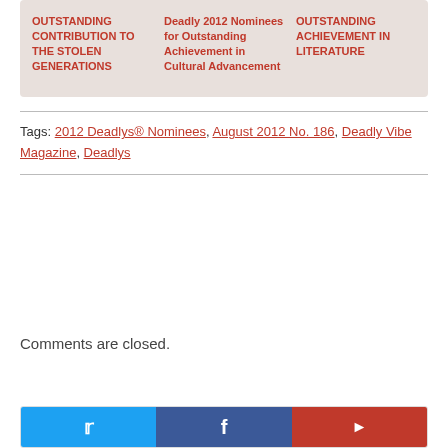[Figure (other): Card area with three columns of links: 'OUTSTANDING CONTRIBUTION TO THE STOLEN GENERATIONS', 'Deadly 2012 Nominees for Outstanding Achievement in Cultural Advancement', 'OUTSTANDING ACHIEVEMENT IN LITERATURE']
Tags: 2012 Deadlys® Nominees, August 2012 No. 186, Deadly Vibe Magazine, Deadlys
Comments are closed.
[Figure (other): Social media sharing bar with Twitter (blue), Facebook (dark blue), and a third red social button]